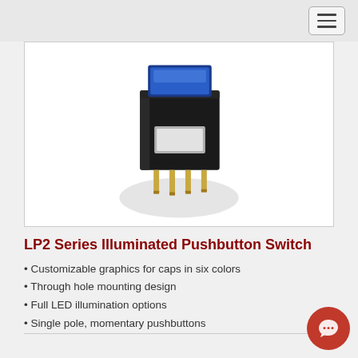[Figure (photo): LP2 Series Illuminated Pushbutton Switch product photo showing a small black square pushbutton switch with blue illuminated cap on top and gold through-hole pins at the bottom, on a white background with shadow]
LP2 Series Illuminated Pushbutton Switch
Customizable graphics for caps in six colors
Through hole mounting design
Full LED illumination options
Single pole, momentary pushbuttons